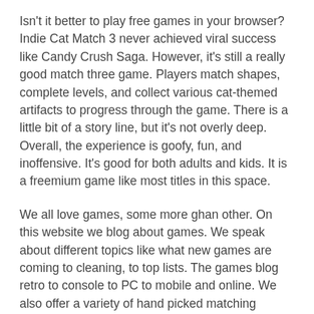Isn't it better to play free games in your browser? Indie Cat Match 3 never achieved viral success like Candy Crush Saga. However, it's still a really good match three game. Players match shapes, complete levels, and collect various cat-themed artifacts to progress through the game. There is a little bit of a story line, but it's not overly deep. Overall, the experience is goofy, fun, and inoffensive. It's good for both adults and kids. It is a freemium game like most titles in this space.
We all love games, some more ghan other. On this website we blog about games. We speak about different topics like what new games are coming to cleaning, to top lists. The games blog retro to console to PC to mobile and online. We also offer a variety of hand picked matching games for all ages. Scouring the internet we play and test the best match 3 games that can be play on both desktop and mobile devices. See additional details Match 3 Games Free.